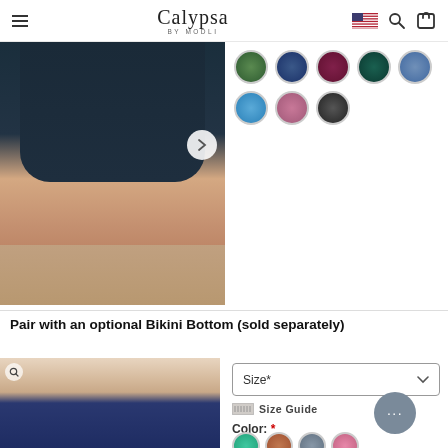Calypsa BY MODLI — navigation header with hamburger menu, logo, flag icon, search, cart
[Figure (photo): Product photo showing lower body wearing dark navy biker shorts, legs visible from thigh to knee, standing on light wood floor]
[Figure (illustration): Eight circular color swatches in two rows: green leaf pattern, navy blue floral, burgundy, dark teal, blue dotted; second row: light blue, pink/mauve, dark grey/charcoal]
Pair with an optional Bikini Bottom (sold separately)
[Figure (photo): Product photo of navy blue bikini bottom on model, torso cropped, with zoom/plus icon overlay]
Size*
Size Guide
Color: *
[Figure (illustration): Four partial color swatches visible at bottom: teal, terracotta/rust, grey, pink]